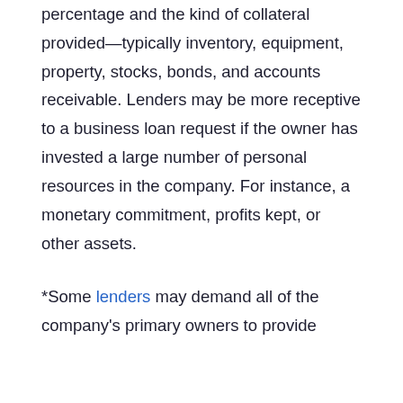percentage and the kind of collateral provided—typically inventory, equipment, property, stocks, bonds, and accounts receivable. Lenders may be more receptive to a business loan request if the owner has invested a large number of personal resources in the company. For instance, a monetary commitment, profits kept, or other assets.
*Some lenders may demand all of the company's primary owners to provide